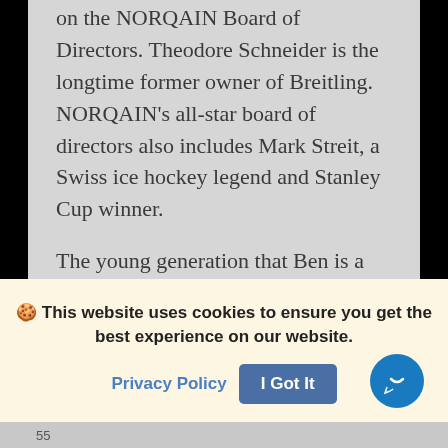on the NORQAIN Board of Directors. Theodore Schneider is the longtime former owner of Breitling. NORQAIN's all-star board of directors also includes Mark Streit, a Swiss ice hockey legend and Stanley Cup winner.

The young generation that Ben is a part of is known for drive, passion, entrepreneurial spirit and a forward-thinking mentality. Ben is the epitome of these characteristics and success in this age group. It was in 2018 that Ben knew it was time to bring boldness and flair to reinvigorate and shake up the
🍪 This website uses cookies to ensure you get the best experience on our website.
Privacy Policy   I Got It
55